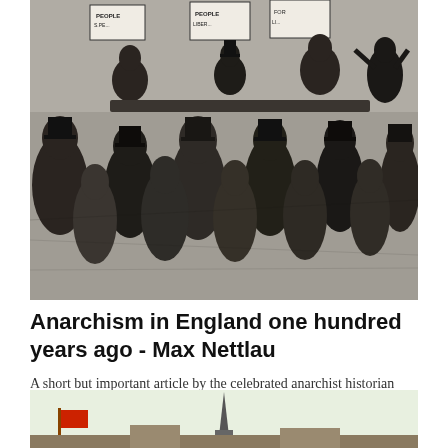[Figure (illustration): Black and white engraving/illustration of a 19th-century political crowd scene. People holding protest signs reading 'PEOPLE' and 'LIBERTY'. Figures in top hats on a raised platform addressing a large crowd below, all wearing period coats and hats.]
Anarchism in England one hundred years ago - Max Nettlau
A short but important article by the celebrated anarchist historian (and historian of anarchism) Max...
[Figure (illustration): Partial view of a color illustration showing a building with a tall church spire, and what appears to be a red flag or banner on the left edge, against a light sky background.]